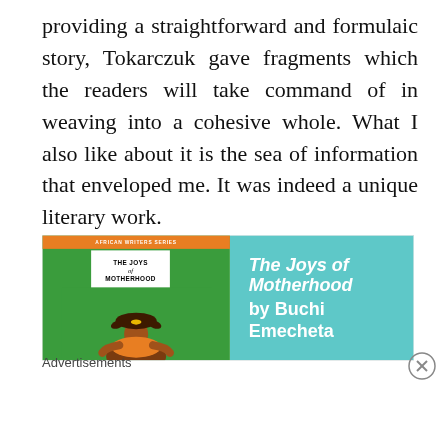providing a straightforward and formulaic story, Tokarczuk gave fragments which the readers will take command of in weaving into a cohesive whole. What I also like about it is the sea of information that enveloped me. It was indeed a unique literary work.
[Figure (illustration): Advertisement banner for 'The Joys of Motherhood' by Buchi Emecheta. Left half shows a green book cover with orange 'African Writers Series' top bar, white title block reading 'THE JOYS of MOTHERHOOD', and an illustration of a figure with braided hair on a green background. Right half is teal/cyan with white italic bold text reading 'The Joys of Motherhood by Buchi Emecheta'.]
Advertisements